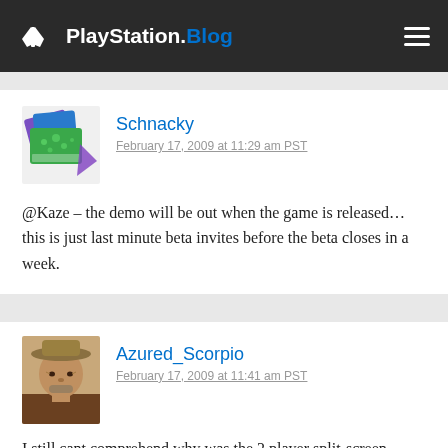PlayStation.Blog
Schnacky
February 17, 2009 at 11:29 am PST
@Kaze – the demo will be out when the game is released… this is just last minute beta invites before the beta closes in a week.
Azured_Scorpio
February 17, 2009 at 11:41 am PST
I still cant comprehend why was the 2 player split-screen